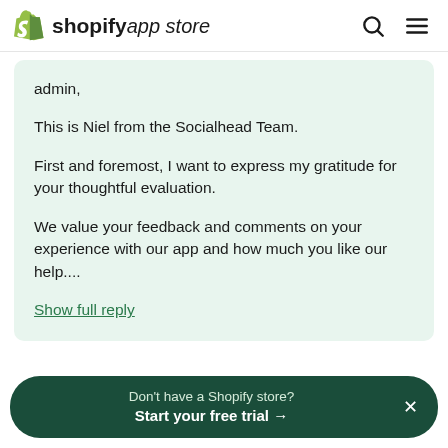shopify app store
admin,

This is Niel from the Socialhead Team.

First and foremost, I want to express my gratitude for your thoughtful evaluation.

We value your feedback and comments on your experience with our app and how much you like our help....
Show full reply
Don't have a Shopify store? Start your free trial →